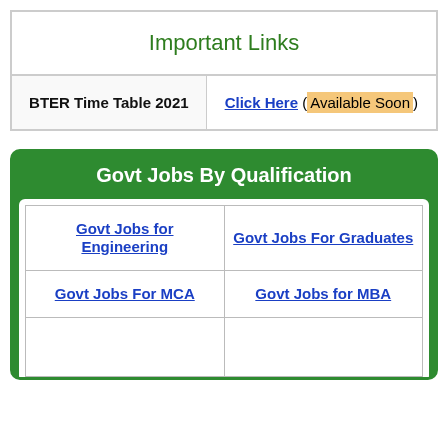| Important Links |
| --- |
| BTER Time Table 2021 | Click Here (Available Soon) |
Govt Jobs By Qualification
| Govt Jobs for Engineering | Govt Jobs For Graduates |
| Govt Jobs For MCA | Govt Jobs for MBA |